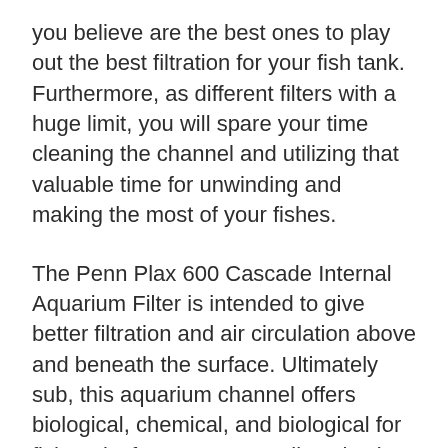you believe are the best ones to play out the best filtration for your fish tank. Furthermore, as different filters with a huge limit, you will spare your time cleaning the channel and utilizing that valuable time for unwinding and making the most of your fishes.
The Penn Plax 600 Cascade Internal Aquarium Filter is intended to give better filtration and air circulation above and beneath the surface. Ultimately sub, this aquarium channel offers biological, chemical, and biological for fish tanks from 20 to 50 gallons in size.
The enacted carbon cartridge eliminates